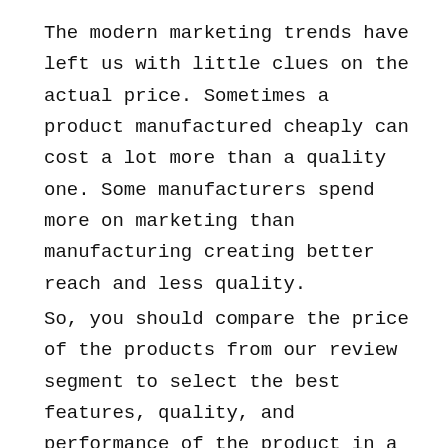The modern marketing trends have left us with little clues on the actual price. Sometimes a product manufactured cheaply can cost a lot more than a quality one. Some manufacturers spend more on marketing than manufacturing creating better reach and less quality.
So, you should compare the price of the products from our review segment to select the best features, quality, and performance of the product in a certain price range.
WHY SHOULD YOU BUY THE FARMERS MARKET KONA?
If you need an item, then understanding the scenario is simple. But if you are not, then think sensibly if the